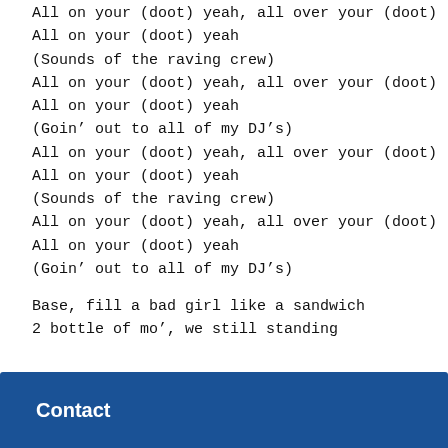All on your (doot) yeah, all over your (doot)
All on your (doot) yeah
(Sounds of the raving crew)
All on your (doot) yeah, all over your (doot)
All on your (doot) yeah
(Goin' out to all of my DJ's)
All on your (doot) yeah, all over your (doot)
All on your (doot) yeah
(Sounds of the raving crew)
All on your (doot) yeah, all over your (doot)
All on your (doot) yeah
(Goin' out to all of my DJ's)
Base, fill a bad girl like a sandwich
2 bottle of mo', we still standing
Contact